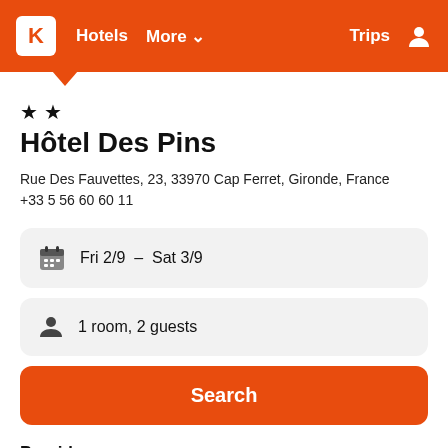K  Hotels  More ▾  Trips  👤
★ ★
Hôtel Des Pins
Rue Des Fauvettes, 23, 33970 Cap Ferret, Gironde, France
+33 5 56 60 60 11
Fri 2/9  –  Sat 3/9
1 room, 2 guests
Search
Provider